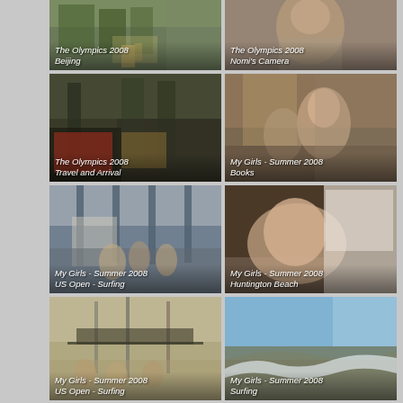[Figure (photo): Outdoor scene, trees and path - The Olympics 2008 Beijing]
[Figure (photo): Man smiling, indoor - The Olympics 2008 Nomi's Camera]
[Figure (photo): Street scene with vehicle and trees - The Olympics 2008 Travel and Arrival]
[Figure (photo): Two girls in a bookstore - My Girls - Summer 2008 Books]
[Figure (photo): Crowd on street with palm trees - My Girls - Summer 2008 US Open - Surfing]
[Figure (photo): Girl resting/sleeping in car - My Girls - Summer 2008 Huntington Beach]
[Figure (photo): Event entrance with banner - My Girls - Summer 2008 US Open - Surfing]
[Figure (photo): Coastal ocean view - My Girls - Summer 2008 Surfing]
[Figure (photo): Surf camp banner/sign - partial]
[Figure (photo): Girl portrait, indoor - partial]